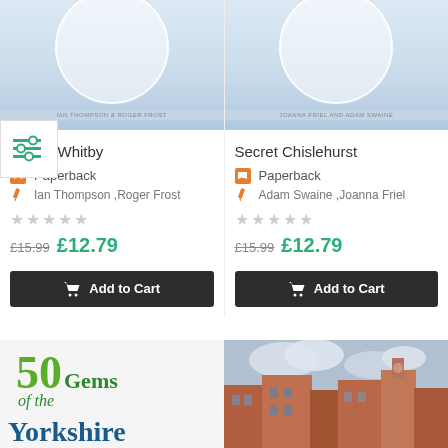[Figure (photo): Book cover for Secret Whitby, light blue tones with circular design element, author text visible at top: IAN THOMPSON & ROGER FROST]
[Figure (photo): Book cover for Secret Chislehurst, light blue tones with circular design element, author text visible: JOANNA FRIEL AND ADAM SWAINE]
Secret Whitby
Paperback
Ian Thompson ,Roger Frost
£15.99 £12.79
Add to Cart
Secret Chislehurst
Paperback
Adam Swaine ,Joanna Friel
£15.99 £12.79
Add to Cart
[Figure (photo): Book cover for 50 Gems of the Yorkshire... showing green text with '50 Gems of the' and partial title below]
[Figure (photo): Book cover showing illustrated street scene with Victorian buildings and cloudy sky]